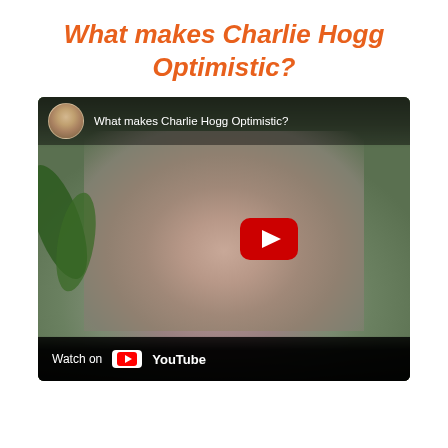What makes Charlie Hogg Optimistic?
[Figure (screenshot): YouTube video thumbnail showing a man making gestures with his hands near his face, against a green wall background. The video title reads 'What makes Charlie Hogg Optimistic?' with a circular avatar photo in the top-left corner. A red YouTube play button is visible in the center-right. A bottom bar shows 'Watch on YouTube' with the YouTube logo.]